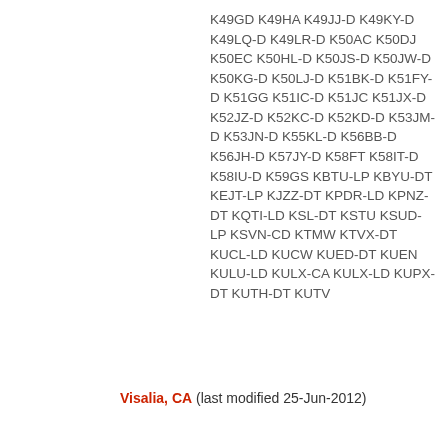K49GD K49HA K49JJ-D K49KY-D K49LQ-D K49LR-D K50AC K50DJ K50EC K50HL-D K50JS-D K50JW-D K50KG-D K50LJ-D K51BK-D K51FY-D K51GG K51IC-D K51JC K51JX-D K52JZ-D K52KC-D K52KD-D K53JM-D K53JN-D K55KL-D K56BB-D K56JH-D K57JY-D K58FT K58IT-D K58IU-D K59GS KBTU-LP KBYU-DT KEJT-LP KJZZ-DT KPDR-LD KPNZ-DT KQTI-LD KSL-DT KSTU KSUD-LP KSVN-CD KTMW KTVX-DT KUCL-LD KUCW KUED-DT KUEN KULU-LD KULX-CA KULX-LD KUPX-DT KUTH-DT KUTV
Visalia, CA (last modified 25-Jun-2012)